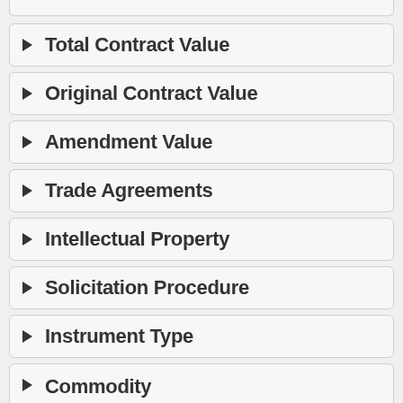Total Contract Value
Original Contract Value
Amendment Value
Trade Agreements
Intellectual Property
Solicitation Procedure
Instrument Type
Commodity